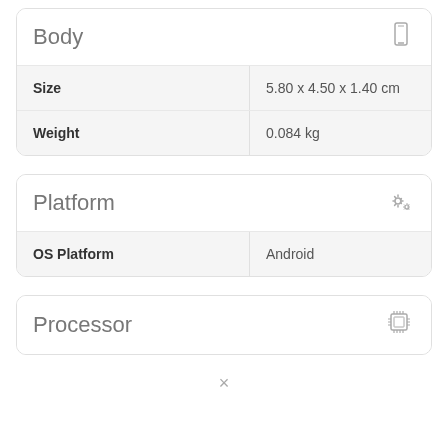| Body |  |
| --- | --- |
| Size | 5.80 x 4.50 x 1.40 cm |
| Weight | 0.084 kg |
| Platform |  |
| --- | --- |
| OS Platform | Android |
| Processor |  |
| --- | --- |